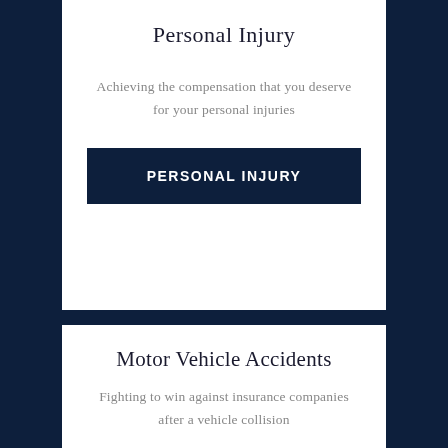Personal Injury
Achieving the compensation that you deserve for your personal injuries
[Figure (other): Dark navy button with white bold uppercase text reading PERSONAL INJURY]
Motor Vehicle Accidents
Fighting to win against insurance companies after a vehicle collision